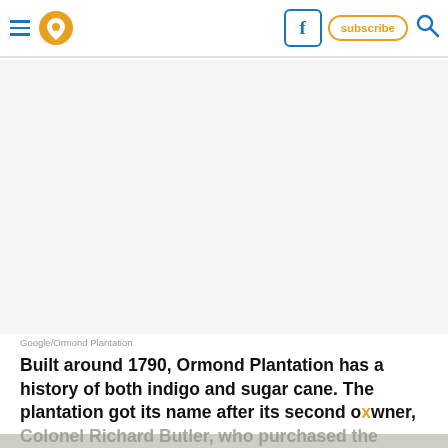Navigation header with hamburger menu, location pin icon, Facebook button, subscribe button, search icon
[Figure (photo): Blank/white image area representing a photo of Ormond Plantation (Google/Ormond Plantation)]
Google/Ormond Plantation
Built around 1790, Ormond Plantation has a history of both indigo and sugar cane. The plantation got its name after its second owner, Colonel Richard Butler, who purchased the plantation in 1805 and renamed it after the Castle Ormonde in Ireland.